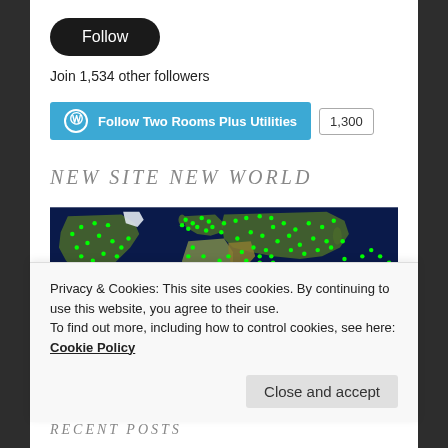Follow
Join 1,534 other followers
[Figure (other): WordPress Follow Two Rooms Plus Utilities button with count 1,300]
NEW SITE NEW WORLD
[Figure (map): World map with green dots showing follower locations across all continents]
Privacy & Cookies: This site uses cookies. By continuing to use this website, you agree to their use.
To find out more, including how to control cookies, see here: Cookie Policy
Close and accept
RECENT POSTS